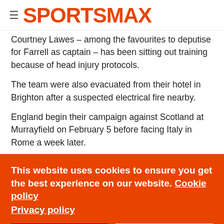SPORTSMAX
Courtney Lawes – among the favourites to deputise for Farrell as captain – has been sitting out training because of head injury protocols.
The team were also evacuated from their hotel in Brighton after a suspected electrical fire nearby.
England begin their campaign against Scotland at Murrayfield on February 5 before facing Italy in Rome a week later.
This website uses cookies to ensure you get the best experience on our website. Cookie policy
Privacy policy
Decline
Allow cookies